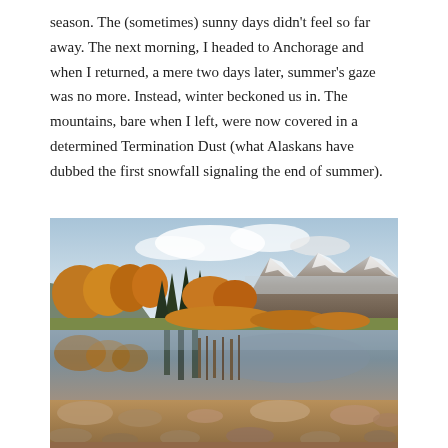season. The (sometimes) sunny days didn't feel so far away. The next morning, I headed to Anchorage and when I returned, a mere two days later, summer's gaze was no more. Instead, winter beckoned us in. The mountains, bare when I left, were now covered in a determined Termination Dust (what Alaskans have dubbed the first snowfall signaling the end of summer).
[Figure (photo): Autumn landscape in Alaska showing golden orange trees and dark evergreens reflected in a calm shallow river or lake, with snow-capped mountains partially covered in clouds in the background, and rocks visible through the clear water in the foreground.]